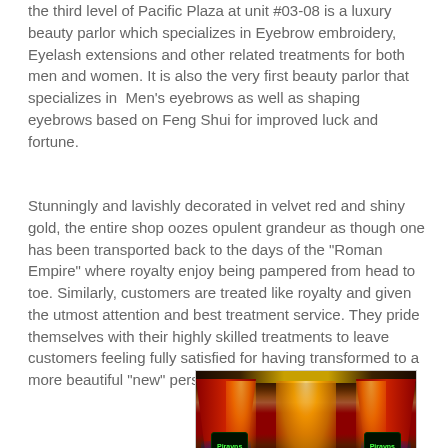the third level of Pacific Plaza at unit #03-08 is a luxury beauty parlor which specializes in Eyebrow embroidery, Eyelash extensions and other related treatments for both men and women. It is also the very first beauty parlor that specializes in  Men's eyebrows as well as shaping eyebrows based on Feng Shui for improved luck and fortune.
Stunningly and lavishly decorated in velvet red and shiny gold, the entire shop oozes opulent grandeur as though one has been transported back to the days of the "Roman Empire" where royalty enjoy being pampered from head to toe. Similarly, customers are treated like royalty and given the utmost attention and best treatment service. They pride themselves with their highly skilled treatments to leave customers feeling fully satisfied for having transformed to a more beautiful "new" person.
[Figure (photo): Interior photo of a luxury beauty parlor decorated with red velvet curtains, golden drapes, and glowing warm lights. Neon green signs visible on both sides.]